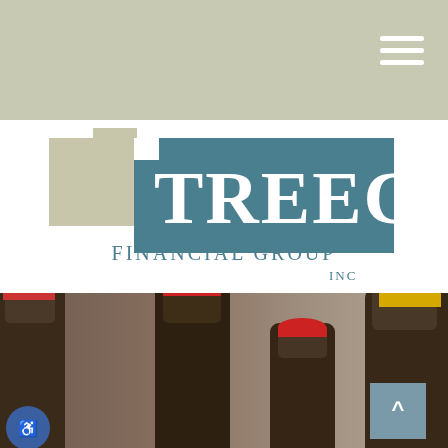Treece Financial Group Inc - Navigation header
[Figure (logo): Treece Financial Group Inc logo with geometric square shapes in grey-beige and text TREECE in white on teal background, below FINANCIAL GROUP INC in teal]
[Figure (infographic): Social media icons row: Twitter bird, LinkedIn in, YouTube, Facebook f]
Client Access | (954) 526-3676 |    (305) 751-8855
[Figure (photo): Close-up photo of dark glass beer bottles with red and yellow crown caps, blurred background]